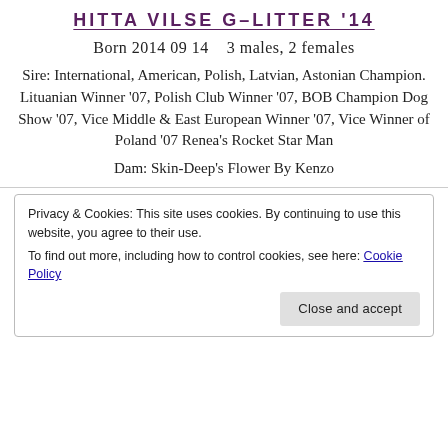HITTA VILSE G–LITTER '14
Born 2014 09 14    3 males, 2 females
Sire: International, American, Polish, Latvian, Astonian Champion. Lituanian Winner '07, Polish Club Winner '07, BOB Champion Dog Show '07, Vice Middle & East European Winner '07, Vice Winner of Poland '07 Renea's Rocket Star Man
Dam: Skin-Deep's Flower By Kenzo
Privacy & Cookies: This site uses cookies. By continuing to use this website, you agree to their use.
To find out more, including how to control cookies, see here: Cookie Policy
Close and accept